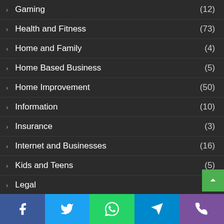Gaming (12)
Health and Fitness (73)
Home and Family (4)
Home Based Business (5)
Home Improvement (50)
Information (10)
Insurance (3)
Internet and Businesses (16)
Kids and Teens (5)
Legal (6)
Life Style (56)
Medical (15)
News and Society
Online Investing (2)